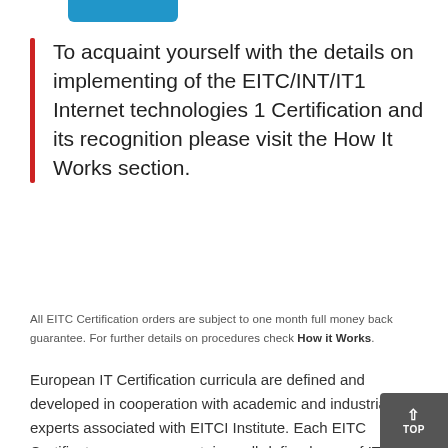[Figure (other): Blue button stub visible at top of page]
To acquaint yourself with the details on implementing of the EITC/INT/IT1 Internet technologies 1 Certification and its recognition please visit the How It Works section.
All EITC Certification orders are subject to one month full money back guarantee. For further details on procedures check How it Works.
European IT Certification curricula are defined and developed in cooperation with academic and industrial IT experts associated with EITCI Institute. Each EITC Certificate concerns a certain, well-defined area of IT, most usually attesting proficiency in relevant software, tool or specific skillset with a proper understanding and practical abilities. EITC Certification curriculum is defined to encompass ca. 15 hours of learning workload, referencing step by step...